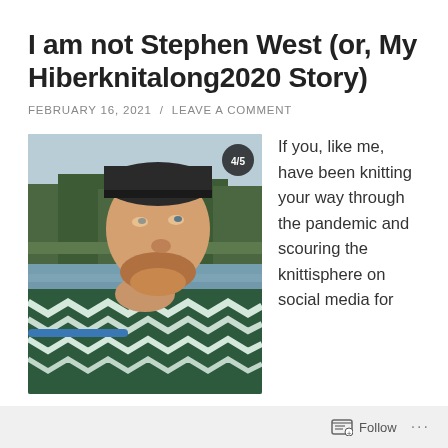I am not Stephen West (or, My Hiberknitalong2020 Story)
FEBRUARY 16, 2021  /  LEAVE A COMMENT
[Figure (photo): A man wearing a green and white zigzag/chevron knitted shawl wrapped around his neck, standing outdoors near a canal with trees in the background. A badge reading '4/5' appears in the upper right corner of the image.]
If you, like me, have been knitting your way through the pandemic and scouring the knittisphere on social media for